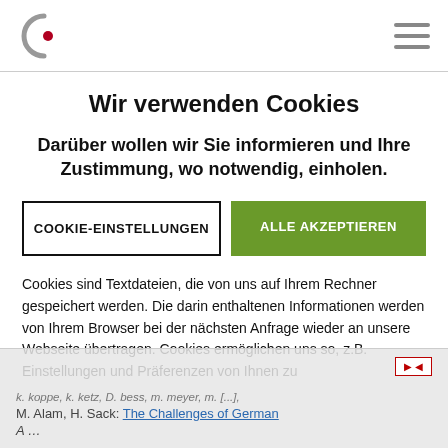Wir verwenden Cookies
Darüber wollen wir Sie informieren und Ihre Zustimmung, wo notwendig, einholen.
COOKIE-EINSTELLUNGEN | ALLE AKZEPTIEREN
Cookies sind Textdateien, die von uns auf Ihrem Rechner gespeichert werden. Die darin enthaltenen Informationen werden von Ihrem Browser bei der nächsten Anfrage wieder an unsere Webseite übertragen. Cookies ermöglichen uns so, z.B. Einstellungen und Präferenzen von Ihnen zu
M. Alam, H. Sack: The Challenges of German